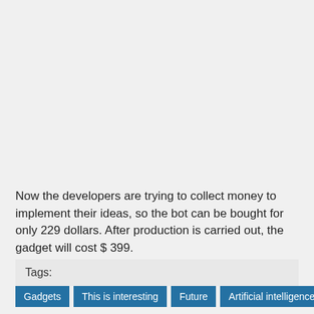Now the developers are trying to collect money to implement their ideas, so the bot can be bought for only 229 dollars. After production is carried out, the gadget will cost $ 399.
Tags:
Gadgets
This is interesting
Future
Artificial intelligence